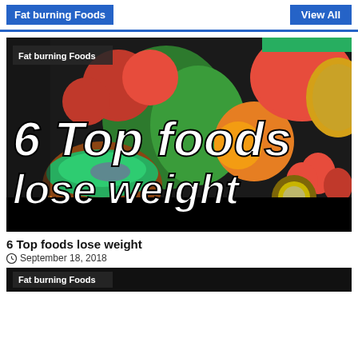Fat burning Foods
View All
[Figure (screenshot): Thumbnail image of colorful fruits and vegetables including tomatoes, green peppers, strawberries, kiwi, watermelon, salad bowl, with large white bold italic text overlay reading '6 Top foods lose weight' and a 'Fat burning Foods' label in top-left corner. Black bar at bottom.]
6 Top foods lose weight
September 18, 2018
[Figure (screenshot): Partial thumbnail of a second video card showing 'Fat burning Foods' label, dark/black background.]